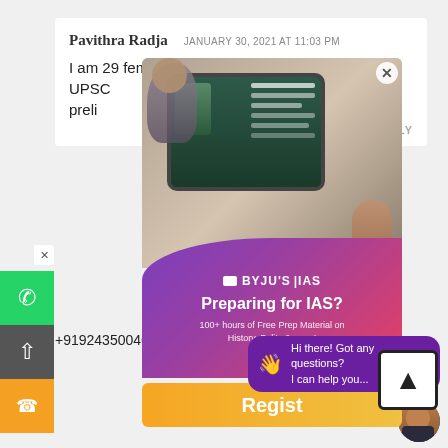Pavithra Radja
JANUARY 30, 2021 AT 11:03 PM
I am 29 female. planned to start preparing for UPSC preli
REPLY
[Figure (screenshot): BYJU'S IAS advertisement popup showing a person using a tablet with an online class, overlaid with BYJU'S IAS branding, 'Preparing for IAS?' headline, '100+ hours of Free Prep Material on History, Polity & more!', and a Register button]
Hi there! Got any questions? I can help you...
+919243500460. Happy to help. Happy learning.
REPLY